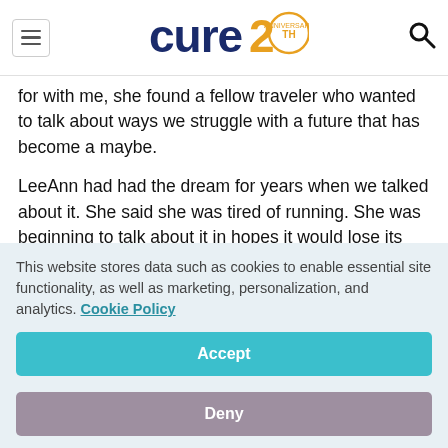cure 20th anniversary logo
for with me, she found a fellow traveler who wanted to talk about ways we struggle with a future that has become a maybe.
LeeAnn had had the dream for years when we talked about it. She said she was tired of running. She was beginning to talk about it in hopes it would lose its power over her. Of course, it meant naming her fear
This website stores data such as cookies to enable essential site functionality, as well as marketing, personalization, and analytics. Cookie Policy
Accept
Deny